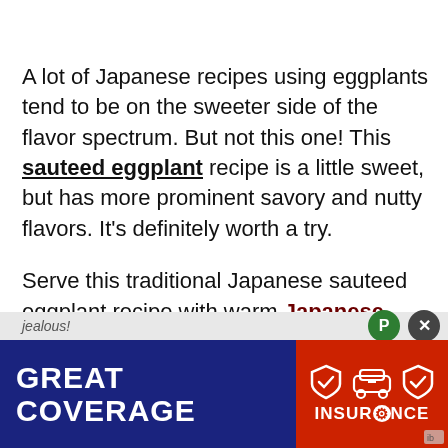A lot of Japanese recipes using eggplants tend to be on the sweeter side of the flavor spectrum. But not this one! This sauteed eggplant recipe is a little sweet, but has more prominent savory and nutty flavors. It's definitely worth a try.
Serve this traditional Japanese sauteed eggplant recipe with warm Japanese rice, a side of pickled daikon and a healthy (and easy) edamame soup. Or take it to work and eat it together with a tasty Thai noodle soup in a cup, and make your co-workers jealous!
[Figure (other): Advertisement banner: blue section on left reading 'GREAT COVERAGE' in white bold text, red section on right with car/shield icons and 'INSURANCE' text in white.]